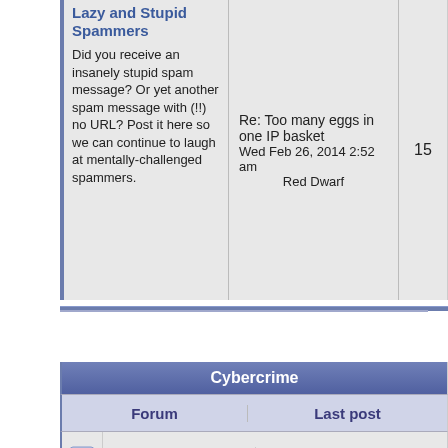| Forum | Last post |  |
| --- | --- | --- |
| Lazy and Stupid Spammers
Did you receive an insanely stupid spam message? Or yet another spam message with (!!) no URL? Post it here so we can continue to laugh at mentally-challenged spammers. | Re: Too many eggs in one IP basket
Wed Feb 26, 2014 2:52 am
Red Dwarf | 15 |
Cybercrime
| Forum | Last post |
| --- | --- |
| Arrests, |  |